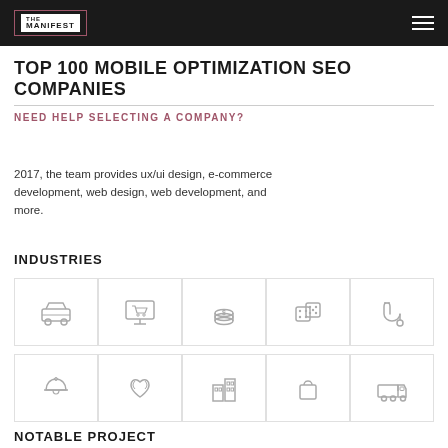THE MANIFEST
TOP 100 MOBILE OPTIMIZATION SEO COMPANIES
NEED HELP SELECTING A COMPANY?
2017, the team provides ux/ui design, e-commerce development, web design, web development, and more.
INDUSTRIES
[Figure (infographic): Row of industry icons: automotive/car, e-commerce monitor with cart, finance/coins, gambling/dice, healthcare/stethoscope]
[Figure (infographic): Row of industry icons: hospitality/bell, nonprofit/heart with leaves, real estate/buildings, retail/shopping bag, logistics/delivery truck]
NOTABLE PROJECT